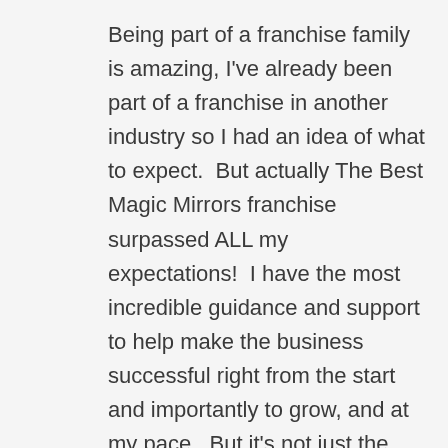Being part of a franchise family is amazing, I've already been part of a franchise in another industry so I had an idea of what to expect.  But actually The Best Magic Mirrors franchise surpassed ALL my expectations!  I have the most incredible guidance and support to help make the business successful right from the start and importantly to grow, and at my pace.  But it's not just the Franchisor that provides that continual support, it's the franchise network that surrounds you, everyone has been so welcoming and the idea and experience sharing is so incredibly valuable.  It's a pleasure to be surrounded by like minded